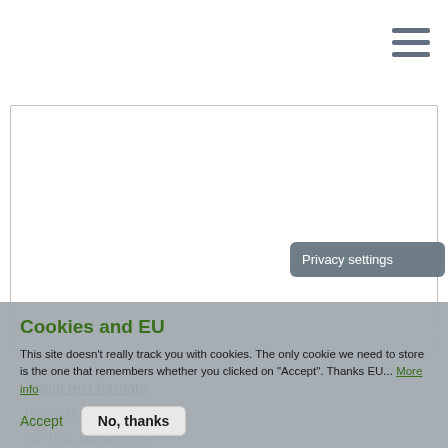[Figure (screenshot): Hamburger menu icon (three horizontal bars) in top-right corner]
[Figure (screenshot): Large empty textarea input box with resize handle]
About text formats
Plain text
No HTML tags allowed.
External and mailto: links have ...
[Figure (screenshot): Privacy settings tooltip popup]
Cookies and EU
This site doesn't really track you with cookies. The only cookie we need to store is the one that remembers whether you clicked on "Accept". Thanks EU... More info
Accept   No, thanks